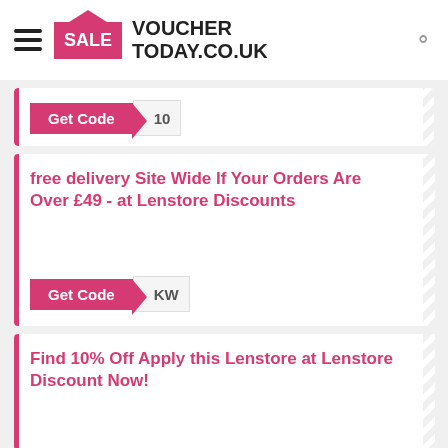[Figure (logo): VoucherToday.co.uk logo with pink SALE house icon and hamburger menu]
Get Code  10
free delivery Site Wide If Your Orders Are Over £49 - at Lenstore Discounts
Get Code  KW
Find 10% Off Apply this Lenstore at Lenstore Discount Now!